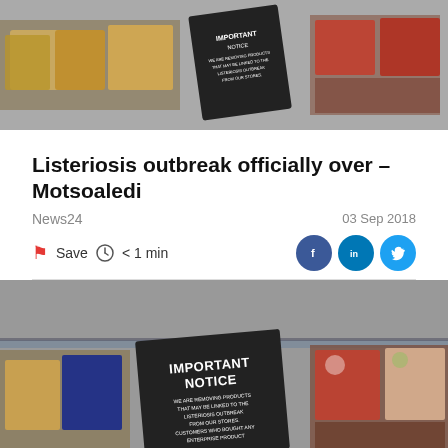[Figure (photo): Supermarket shelves with packaged meat products and a dark sign with an important notice about listeriosis product recall]
Listeriosis outbreak officially over – Motsoaledi
News24
03 Sep 2018
Save  < 1 min
[Figure (photo): Close-up of supermarket refrigerated shelves with an Important Notice sign about removing listeriosis-linked Enterprise products from stores]